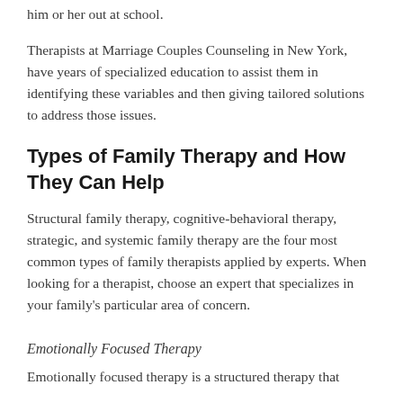him or her out at school.
Therapists at Marriage Couples Counseling in New York, have years of specialized education to assist them in identifying these variables and then giving tailored solutions to address those issues.
Types of Family Therapy and How They Can Help
Structural family therapy, cognitive-behavioral therapy, strategic, and systemic family therapy are the four most common types of family therapists applied by experts. When looking for a therapist, choose an expert that specializes in your family’s particular area of concern.
Emotionally Focused Therapy
Emotionally focused therapy is a structured therapy that